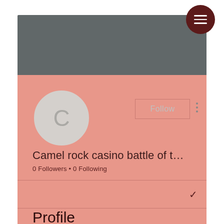[Figure (screenshot): Mobile app profile page UI with grey header banner, pink background, circular avatar with letter C, Follow button, username truncated as 'Camel rock casino battle of t...', follower stats, profile section, and About section]
Camel rock casino battle of t…
0 Followers • 0 Following
Profile
Join date: May 16, 2022
About